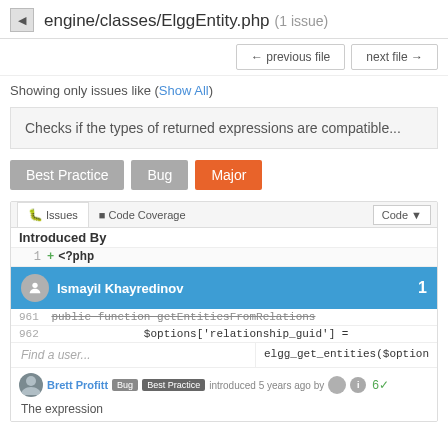engine/classes/ElggEntity.php (1 issue)
← previous file   next file →
Showing only issues like (Show All)
Checks if the types of returned expressions are compatible...
Best Practice
Bug
Major
[Figure (screenshot): Code review panel showing Issues/Code Coverage tabs, code lines including '1 <?php', line 961 public function getEntities FromRelations, line 962 $options['relationship_guid'] =, and elgg_get_entities($option. A blue user row shows 'Ismayil Khayredinov' with count 1. Below is a Find a user input and a comment by Brett Profitt with Bug/Best Practice badges introduced 5 years ago, and 'The expression' text.]